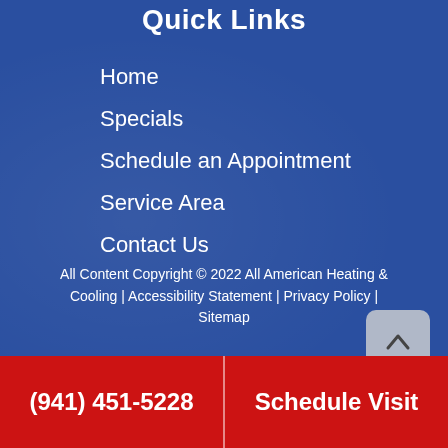Quick Links
Home
Specials
Schedule an Appointment
Service Area
Contact Us
All Content Copyright © 2022 All American Heating & Cooling | Accessibility Statement | Privacy Policy | Sitemap
(941) 451-5228
Schedule Visit